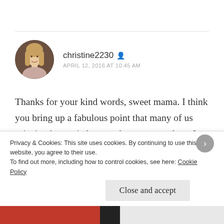[Figure (photo): Circular avatar photo of a woman with long blonde hair]
christine2230 🔒 APRIL 12, 2016 AT 10:45 AM
Thanks for your kind words, sweet mama. I think you bring up a fabulous point that many of us grieving have tried to use these on ourselves. I think this is a reflection of how very much ingrained in us these platitudes become as a result of how frequently they're used in society. I'm so glad this made you laugh, but obviously so
Privacy & Cookies: This site uses cookies. By continuing to use this website, you agree to their use.
To find out more, including how to control cookies, see here: Cookie Policy
Close and accept